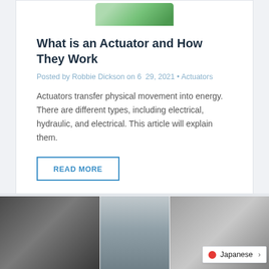[Figure (photo): Partial view of a green electronic component or actuator device at the top of the card]
What is an Actuator and How They Work
Posted by Robbie Dickson on 6  29, 2021 • Actuators
Actuators transfer physical movement into energy. There are different types, including electrical, hydraulic, and electrical. This article will explain them.
READ MORE
[Figure (photo): Three partial photos of actuator devices shown at the bottom of the page in a row]
Japanese